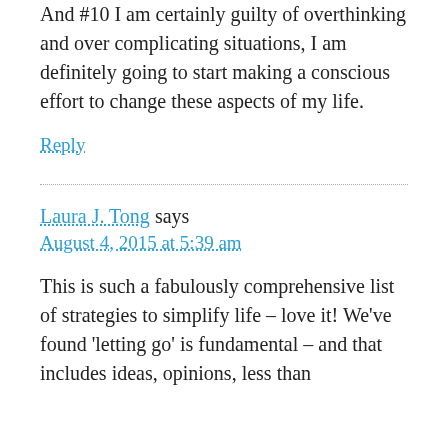And #10 I am certainly guilty of overthinking and over complicating situations, I am definitely going to start making a conscious effort to change these aspects of my life.
Reply
Laura J. Tong says
August 4, 2015 at 5:39 am
This is such a fabulously comprehensive list of strategies to simplify life – love it! We've found 'letting go' is fundamental – and that includes ideas, opinions, less than